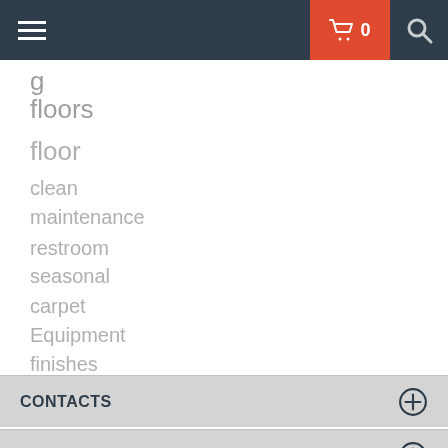Navigation header with hamburger menu, cart (0), and search icon
floors
floor
clean
maintenance
restroom
seasonal
carpet
Equipment
finishes
CONTACTS
HELP
POLICIES